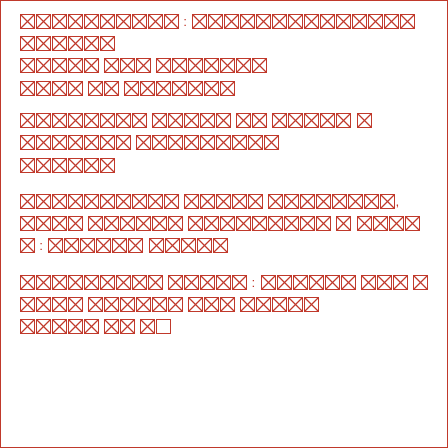[REDACTED BLOCK 1 - multiple redacted words/lines]
[REDACTED BLOCK 2 - multiple redacted words/lines]
[REDACTED BLOCK 3 - multiple redacted words/lines]
[REDACTED BLOCK 4 - multiple redacted words/lines]
After Gyanvapi Masjid, it’s time for the truth behind Shahi Idgah Masjid to come out